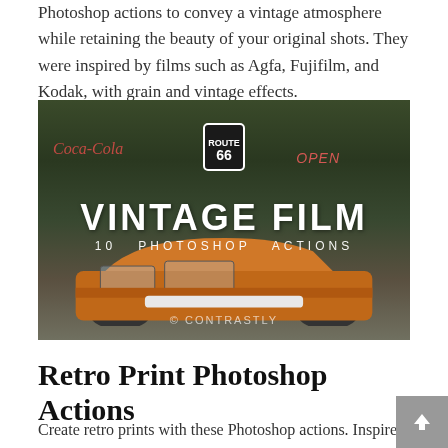Photoshop actions to convey a vintage atmosphere while retaining the beauty of your original shots. They were inspired by films such as Agfa, Fujifilm, and Kodak, with grain and vintage effects.
[Figure (photo): Vintage Film 10 Photoshop Actions promotional image showing an orange vintage convertible car parked in front of a retro gas station with Route 66 sign, Coca-Cola sign, and OPEN sign. Text overlay reads 'VINTAGE FILM' and '10 PHOTOSHOP ACTIONS' with Contrastly watermark.]
Retro Print Photoshop Actions
Create retro prints with these Photoshop actions. Inspired by